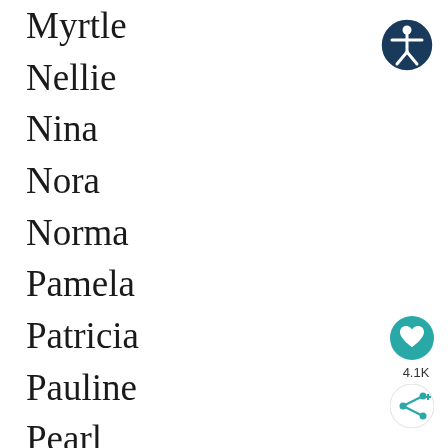Myrtle
Nellie
Nina
Nora
Norma
Pamela
Patricia
Pauline
Pearl
Peggy
Phoebe
Phyllis
Rebecca
[Figure (illustration): Accessibility icon button — dark navy circle with white figure person with outstretched arms]
[Figure (illustration): Heart/like button — teal circle with white heart icon]
4.1K
[Figure (illustration): Share button — white circle with teal share/network icon]